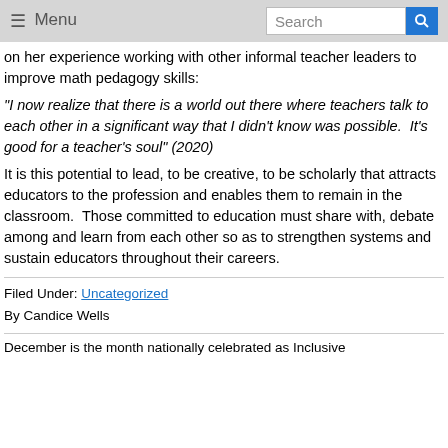≡ Menu  Search
on her experience working with other informal teacher leaders to improve math pedagogy skills:
"I now realize that there is a world out there where teachers talk to each other in a significant way that I didn't know was possible.  It's good for a teacher's soul" (2020)
It is this potential to lead, to be creative, to be scholarly that attracts educators to the profession and enables them to remain in the classroom.  Those committed to education must share with, debate among and learn from each other so as to strengthen systems and sustain educators throughout their careers.
Filed Under: Uncategorized
By Candice Wells
December is the month nationally celebrated as Inclusive